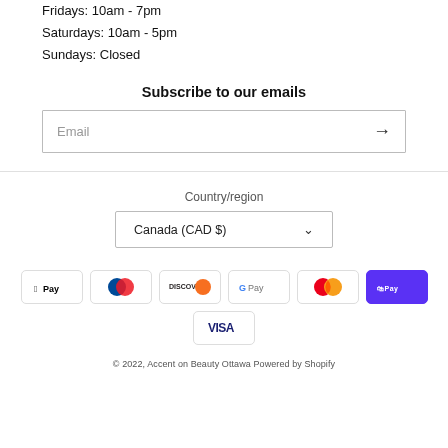Fridays: 10am - 7pm
Saturdays: 10am - 5pm
Sundays: Closed
Subscribe to our emails
Email
Country/region
Canada (CAD $)
[Figure (logo): Payment method logos: Apple Pay, Diners Club, Discover, Google Pay, Mastercard, Shop Pay, Visa]
© 2022, Accent on Beauty Ottawa Powered by Shopify